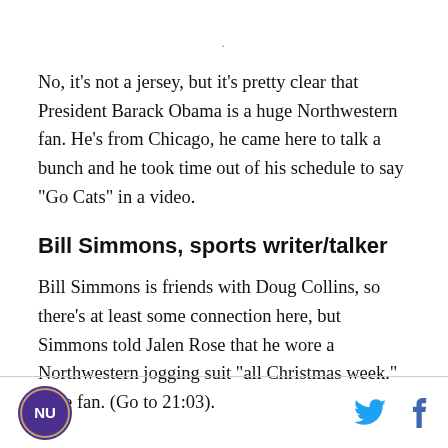No, it's not a jersey, but it's pretty clear that President Barack Obama is a huge Northwestern fan. He's from Chicago, he came here to talk a bunch and he took time out of his schedule to say "Go Cats" in a video.
Bill Simmons, sports writer/talker
Bill Simmons is friends with Doug Collins, so there's at least some connection here, but Simmons told Jalen Rose that he wore a Northwestern jogging suit "all Christmas week." True fan. (Go to 21:03).
NU logo, Twitter icon, Facebook icon